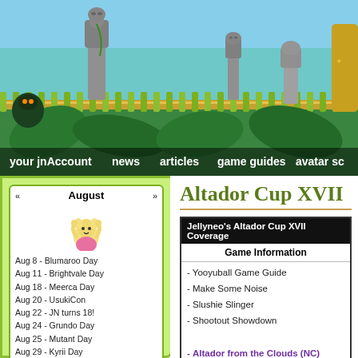[Figure (illustration): Jellyneo website header banner with animated Neopets game art — stone Easter Island-style moai statues, jungle plants, vines, and Neopets characters on a teal/green jungle background]
your jnAccount   news   articles   game guides   avatar sc
August
Aug 8 - Blumaroo Day
Aug 11 - Brightvale Day
Aug 18 - Meerca Day
Aug 20 - UsukiCon
Aug 22 - JN turns 18!
Aug 24 - Grundo Day
Aug 25 - Mutant Day
Aug 29 - Kyrii Day
jellyneo links
Altador Cup XVII
| Jellyneo's Altador Cup XVII Coverage |
| --- |
| Game Information |
| - Yooyuball Game Guide |
| - Make Some Noise |
| - Slushie Slinger |
| - Shootout Showdown |
| - Altador from the Clouds (NC) |
| - Rank Calculator |
| - TNT Staff Tournament |